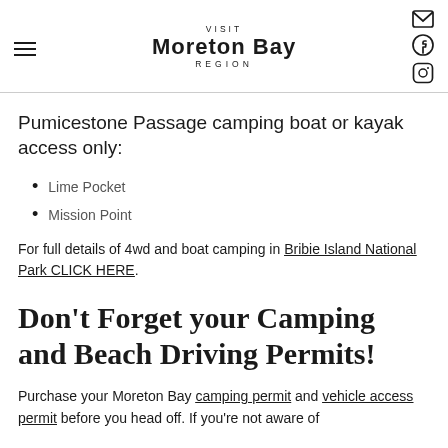VISIT Moreton Bay REGION
Pumicestone Passage camping boat or kayak access only:
Lime Pocket
Mission Point
For full details of 4wd and boat camping in Bribie Island National Park CLICK HERE.
Don't Forget your Camping and Beach Driving Permits!
Purchase your Moreton Bay camping permit and vehicle access permit before you head off. If you're not aware of